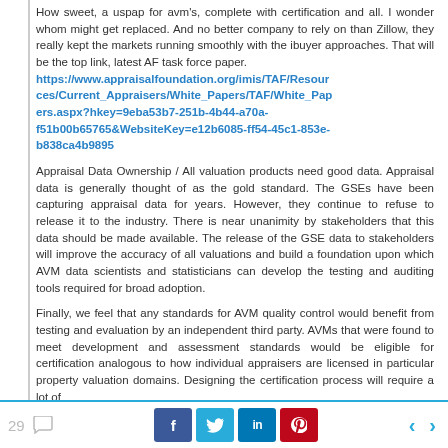How sweet, a uspap for avm's, complete with certification and all. I wonder whom might get replaced. And no better company to rely on than Zillow, they really kept the markets running smoothly with the ibuyer approaches. That will be the top link, latest AF task force paper. https://www.appraisalfoundation.org/imis/TAF/Resources/Current_Appraisers/White_Papers/TAF/White_Papers.aspx?hkey=9eba53b7-251b-4b44-a70a-f51b00b65765&WebsiteKey=e12b6085-ff54-45c1-853e-b838ca4b9895
Appraisal Data Ownership / All valuation products need good data. Appraisal data is generally thought of as the gold standard. The GSEs have been capturing appraisal data for years. However, they continue to refuse to release it to the industry. There is near unanimity by stakeholders that this data should be made available. The release of the GSE data to stakeholders will improve the accuracy of all valuations and build a foundation upon which AVM data scientists and statisticians can develop the testing and auditing tools required for broad adoption.
Finally, we feel that any standards for AVM quality control would benefit from testing and evaluation by an independent third party. AVMs that were found to meet development and assessment standards would be eligible for certification analogous to how individual appraisers are licensed in particular property valuation domains. Designing the certification process will require a lot of
29 [comments] [f] [t] [in] [p] [< >]